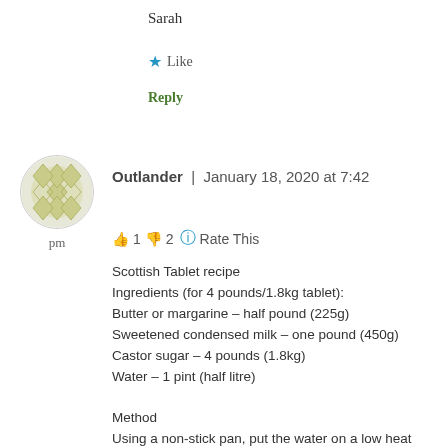Sarah
★ Like
Reply
[Figure (illustration): Round avatar with olive/yellow diamond geometric pattern]
pm
Outlander | January 18, 2020 at 7:42
👍 1 👎 2 ℹ Rate This
Scottish Tablet recipe
Ingredients (for 4 pounds/1.8kg tablet):
Butter or margarine – half pound (225g)
Sweetened condensed milk – one pound (450g)
Castor sugar – 4 pounds (1.8kg)
Water – 1 pint (half litre)

Method
Using a non-stick pan, put the water on a low heat and melt in the butter. Add the sugar